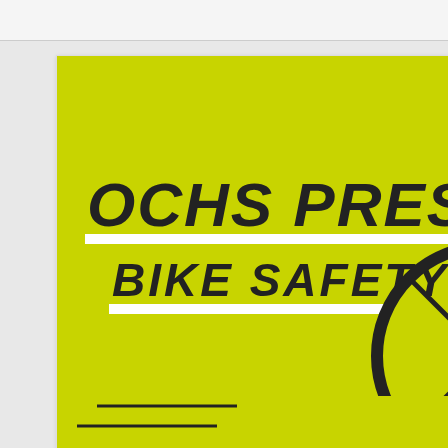[Figure (illustration): OCHS Presents Bike Safety promotional image on yellow-green background with black illustrated cyclist on a racing bicycle]
OCHS Presents Bike Safety
OCHS Students Create Traffic Safety Videos
Students in Ocean City High ..
[Figure (photo): Photo of people standing indoors, partially cropped on right side]
OCIS Crea
OCIS Cre Renters T
OCEAN C